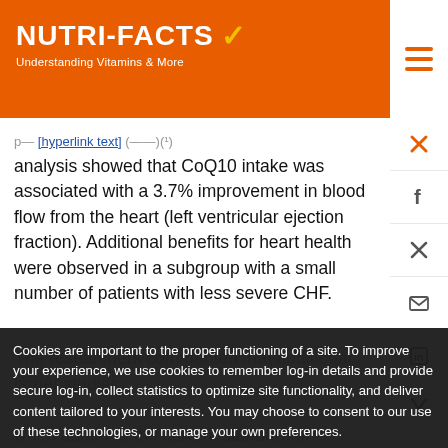NUTRI-FACTS ✓ Understanding Vitamins & More
analysis showed that CoQ10 intake was associated with a 3.7% improvement in blood flow from the heart (left ventricular ejection fraction). Additional benefits for heart health were observed in a subgroup with a small number of patients with less severe CHF.
The researchers commented that additional larger studies ... when added to the current standard of therapy for CHF – a leading cause of morbidity and mortality in the United States and worldwide. They ... computer.
Cookies are important to the proper functioning of a site. To improve your experience, we use cookies to remember log-in details and provide secure log-in, collect statistics to optimize site functionality, and deliver content tailored to your interests. You may choose to consent to our use of these technologies, or manage your own preferences.
Privacy
ACCEPT ALL
DECLINE ALL
MANAGE SETTINGS